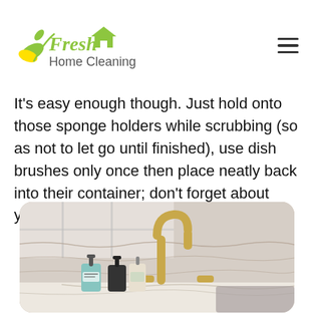Fresh Home Cleaning (logo and navigation)
It's easy enough though. Just hold onto those sponge holders while scrubbing (so as not to let go until finished), use dish brushes only once then place neatly back into their container; don't forget about your sink mat!
[Figure (photo): A kitchen sink with a gold/brass faucet, white marble countertop, and cleaning/soap dispensers on the counter, with a window and white brick backsplash in the background.]